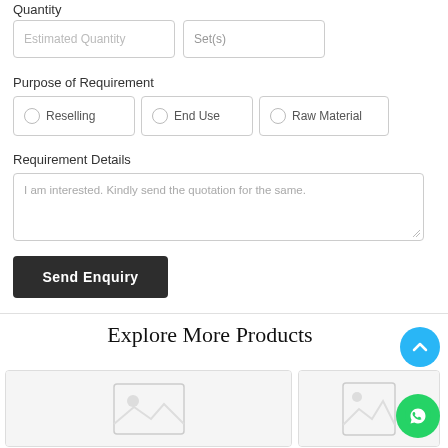Quantity
Estimated Quantity
Set(s)
Purpose of Requirement
Reselling
End Use
Raw Material
Requirement Details
I am interested. Kindly send the quotation for the same.
Send Enquiry
Explore More Products
[Figure (other): Product image placeholder card left]
[Figure (other): Product image placeholder card right]